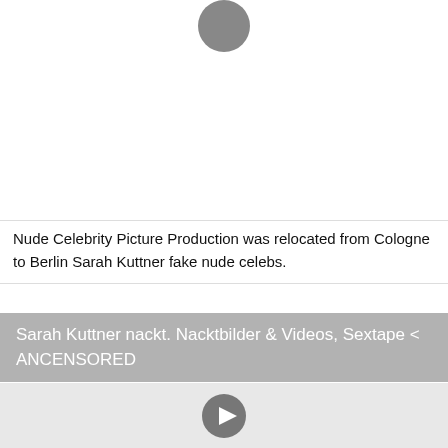[Figure (photo): White background with partial dark circle avatar at top center]
Nude Celebrity Picture Production was relocated from Cologne to Berlin Sarah Kuttner fake nude celebs.
Sarah Kuttner nackt. Nacktbilder & Videos, Sextape < ANCENSORED
[Figure (screenshot): Light gray video thumbnail area with play button icon in center]
Nude Celeb Pic Sarah Kuttner born 29 January 1979 is a German presenter and author from Berlin Sarah Kuttner celeb